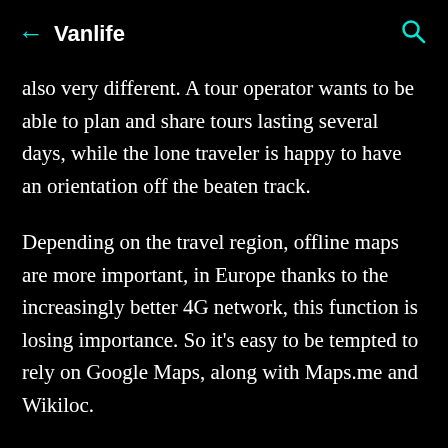← Vanlife 🔍
also very different. A tour operator wants to be able to plan and share tours lasting several days, while the lone traveler is happy to have an orientation off the beaten track.
Depending on the travel region, offline maps are more important, in Europe thanks to the increasingly better 4G network, this function is losing importance. So it's easy to be tempted to rely on Google Maps, along with Maps.me and Wikiloc.
For a long time I was able to keep my head above